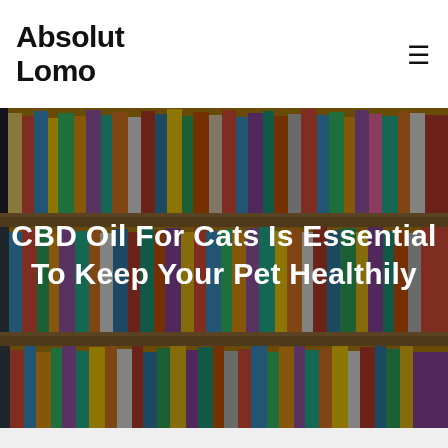Absolut Lomo
[Figure (photo): Background hero image of bookshelves filled with colorful books, with a dark overlay. White bold text reads: CBD Oil For Cats Is Essential To Keep Your Pet Healthily]
CBD Oil For Cats Is Essential To Keep Your Pet Healthily